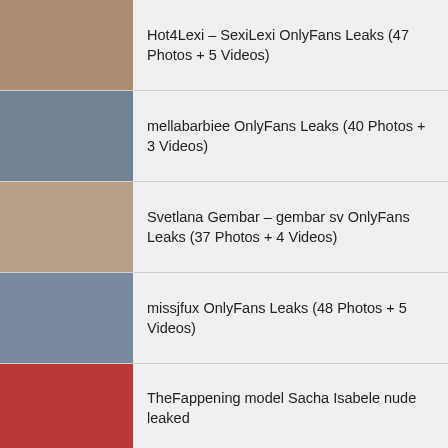Hot4Lexi – SexiLexi OnlyFans Leaks (47 Photos + 5 Videos)
mellabarbiee OnlyFans Leaks (40 Photos + 3 Videos)
Svetlana Gembar – gembar sv OnlyFans Leaks (37 Photos + 4 Videos)
missjfux OnlyFans Leaks (48 Photos + 5 Videos)
TheFappening model Sacha Isabele nude leaked